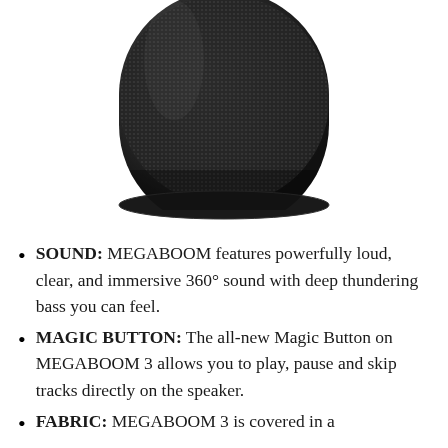[Figure (photo): A black cylindrical Bluetooth speaker (UE MEGABOOM 3) shown from the top portion, with dark fabric mesh grille texture, cropped at the top and bottom of the image area.]
SOUND: MEGABOOM features powerfully loud, clear, and immersive 360° sound with deep thundering bass you can feel.
MAGIC BUTTON: The all-new Magic Button on MEGABOOM 3 allows you to play, pause and skip tracks directly on the speaker.
FABRIC: MEGABOOM 3 is covered in a